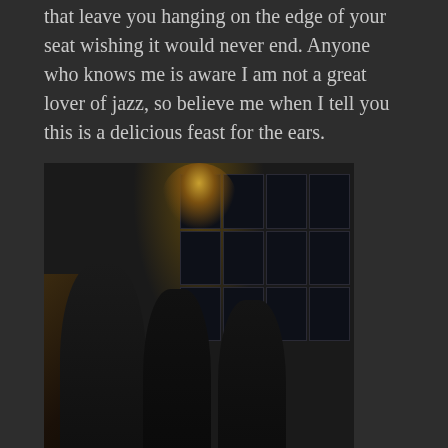that leave you hanging on the edge of your seat wishing it would never end. Anyone who knows me is aware I am not a great lover of jazz, so believe me when I tell you this is a delicious feast for the ears.
[Figure (photo): Three men dressed in dark clothing standing on a staircase in a dimly lit interior with chandelier and window panes in the background]
Relax in hazy summer keys and soft wispy